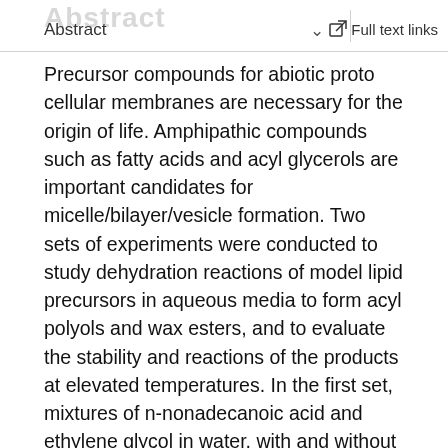Abstract | Full text links
Precursor compounds for abiotic proto cellular membranes are necessary for the origin of life. Amphipathic compounds such as fatty acids and acyl glycerols are important candidates for micelle/bilayer/vesicle formation. Two sets of experiments were conducted to study dehydration reactions of model lipid precursors in aqueous media to form acyl polyols and wax esters, and to evaluate the stability and reactions of the products at elevated temperatures. In the first set, mixtures of n-nonadecanoic acid and ethylene glycol in water, with and without oxalic acid, were heated at discrete temperatures from 150 ( composite function)C to 300 ( composite function)C for 72 h. The products were typically alkyl alkanoates, ethylene glycolyl alkanoates, ethylene glycolyl bis-alkanoates and alkanols. The condensation products had maximum yields between 150 ( composite function)C and 250 ( composite function)C, and were detectable and thus